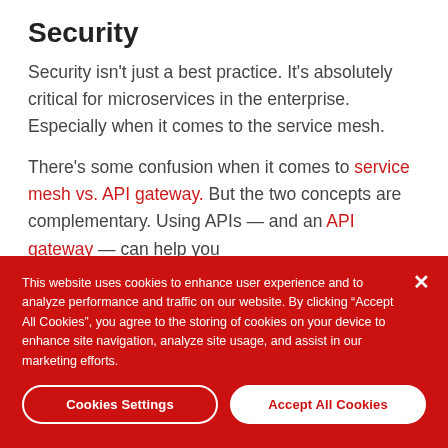Security
Security isn't just a best practice. It's absolutely critical for microservices in the enterprise. Especially when it comes to the service mesh.
There's some confusion when it comes to service mesh vs. API gateway. But the two concepts are complementary. Using APIs — and an API gateway — can help you
This website uses cookies to enhance user experience and to analyze performance and traffic on our website. By clicking “Accept All Cookies”, you agree to the storing of cookies on your device to enhance site navigation, analyze site usage, and assist in our marketing efforts.